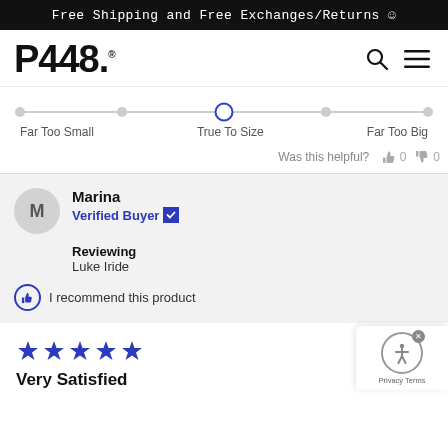Free Shipping and Free Exchanges/Returns ☺
[Figure (logo): P448 brand logo with registered trademark symbol]
[Figure (infographic): Size fit slider showing position at True To Size, with labels Far Too Small, True To Size, Far Too Big]
Was this helpful? 👍 0 👎 0
Marina
Verified Buyer ✔
Reviewing
Luke Iride
I recommend this product
[Figure (infographic): 5 blue stars rating]
Very Satisfied